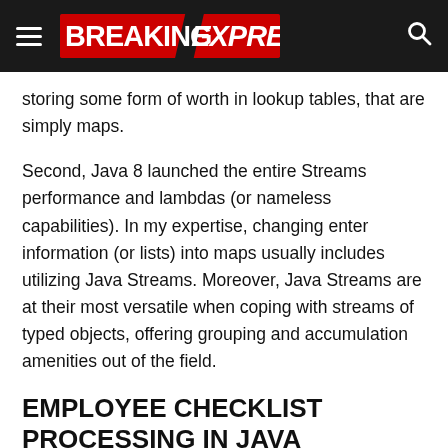BREAKING EXPRESS
storing some form of worth in lookup tables, that are simply maps.
Second, Java 8 launched the entire Streams performance and lambdas (or nameless capabilities). In my expertise, changing enter information (or lists) into maps usually includes utilizing Java Streams. Moreover, Java Streams are at their most versatile when coping with streams of typed objects, offering grouping and accumulation amenities out of the field.
EMPLOYEE CHECKLIST PROCESSING IN JAVA
Here's a concrete instance primarily based on these fictitious worker information. Below is a Java program that defines an Employee class to carry the worker data, builds